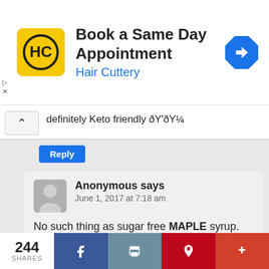[Figure (screenshot): Ad banner for Hair Cuttery: yellow logo with HC initials, text 'Book a Same Day Appointment' and 'Hair Cuttery' in blue, blue diamond navigation arrow icon on right]
definitely Keto friendly ðY'ðY¼
Reply
Anonymous says
June 1, 2017 at 7:18 am
No such thing as sugar free MAPLE syrup. Only SF syrup is Maple flavored, not the real stuff.
Reply
244 SHARES